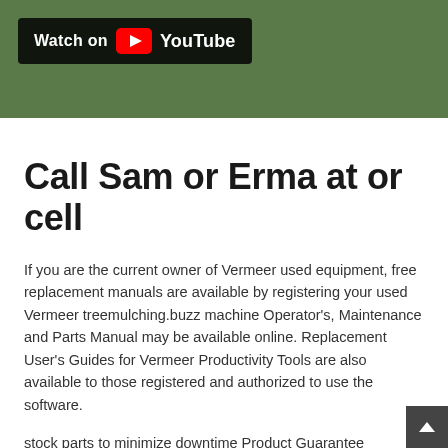[Figure (screenshot): YouTube video thumbnail overlay with dark background and outdoor/grass scene visible. Shows 'Watch on YouTube' badge with YouTube play button icon in top-left corner.]
Call Sam or Erma at or cell
If you are the current owner of Vermeer used equipment, free replacement manuals are available by registering your used Vermeer treemulching.buzz machine Operator's, Maintenance and Parts Manual may be available online. Replacement User's Guides for Vermeer Productivity Tools are also available to those registered and authorized to use the software.
stock parts to minimize downtime Product Guarantee Complete System Unlimited Technical Support We have a new replacement engine with a complete installation kit for your Vermeer B Stump Grinder!